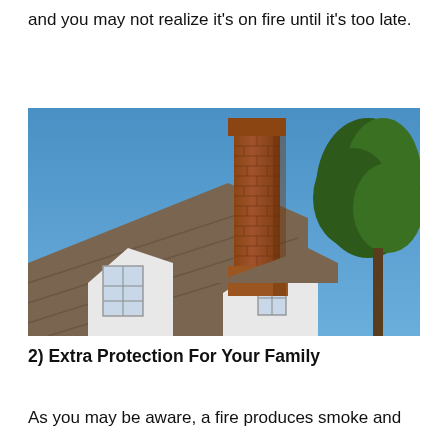and you may not realize it's on fire until it's too late.
[Figure (photo): Photograph of a colonial-style house rooftop with a tall brick chimney against a clear blue sky, with a large tree visible on the right side.]
2) Extra Protection For Your Family
As you may be aware, a fire produces smoke and